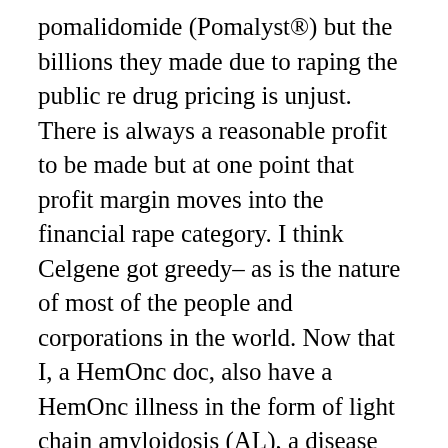pomalidomide (Pomalyst®) but the billions they made due to raping the public re drug pricing is unjust. There is always a reasonable profit to be made but at one point that profit margin moves into the financial rape category. I think Celgene got greedy– as is the nature of most of the people and corporations in the world. Now that I, a HemOnc doc, also have a HemOnc illness in the form of light chain amyloidosis (AL), a disease that is a b-cell neoplastic disorder and that is treated by virtually all of the drugs that are effective for MM, I see the impact of this financial rape when it comes to my own healthcare. Yes, I have made a good living as a physician but now, in my 70's, with a much younger wife, I do not